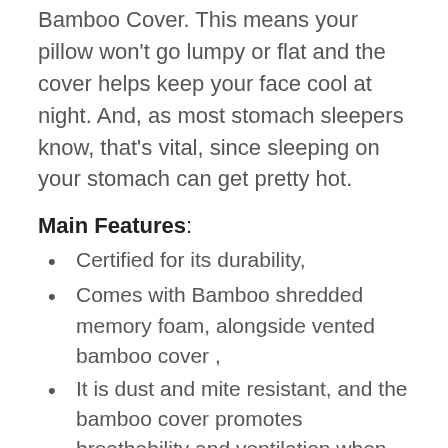Bamboo Cover. This means your pillow won't go lumpy or flat and the cover helps keep your face cool at night. And, as most stomach sleepers know, that's vital, since sleeping on your stomach can get pretty hot.
Main Features:
Certified for its durability,
Comes with Bamboo shredded memory foam, alongside vented bamboo cover ,
It is dust and mite resistant, and the bamboo cover promotes breathability and ventilation when using the pillow.
Comes with 30 day...